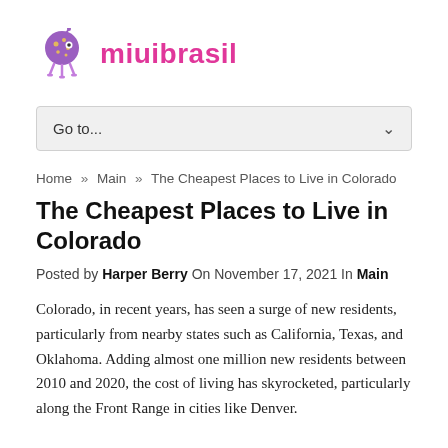miuibrasil
[Figure (other): Navigation dropdown bar with 'Go to...' text and chevron arrow]
Home » Main » The Cheapest Places to Live in Colorado
The Cheapest Places to Live in Colorado
Posted by Harper Berry On November 17, 2021 In Main
Colorado, in recent years, has seen a surge of new residents, particularly from nearby states such as California, Texas, and Oklahoma. Adding almost one million new residents between 2010 and 2020, the cost of living has skyrocketed, particularly along the Front Range in cities like Denver.